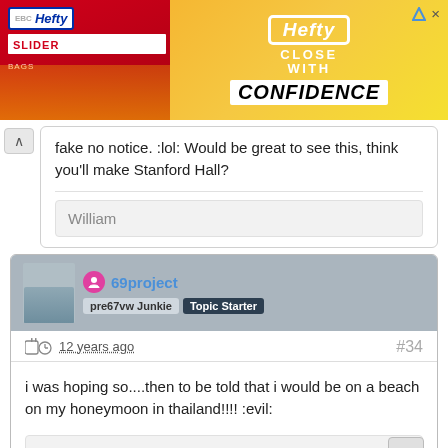[Figure (photo): Hefty Slider Bags advertisement banner with red product image on left and 'Hefty CLOSE WITH CONFIDENCE' text on yellow/orange background on right]
fake no notice. :lol: Would be great to see this, think you'll make Stanford Hall?
William
69project
pre67vw Junkie  Topic Starter
12 years ago  #34
i was hoping so....then to be told that i would be on a beach on my honeymoon in thailand!!!! :evil:
Car less.....